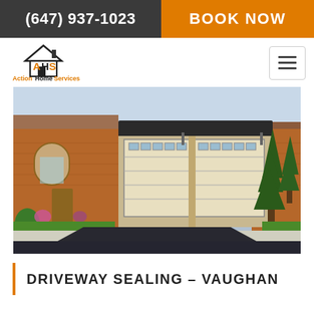(647) 937-1023  BOOK NOW
[Figure (logo): Action Home Services logo with house outline and stylized AHS text, orange and black colors, with text 'ActionHomeServices' below]
[Figure (photo): A freshly sealed dark asphalt driveway in front of a brick residential home with two beige garage doors, flanked by evergreen trees and landscaping, sunny day]
DRIVEWAY SEALING - VAUGHAN